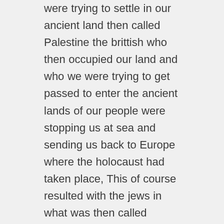were trying to settle in our ancient land then called Palestine the brittish who then occupied our land and who we were trying to get passed to enter the ancient lands of our people were stopping us at sea and sending us back to Europe where the holocaust had taken place, This of course resulted with the jews in what was then called Palestine fighting the English occupiers so we the jewish people could again live in our own state which was ours by birthright; English soldiers unfortunately were often killed in this conflict resulting in a great deal of anti Semitism against us british born jews; I can remember with great clarity the fights we the jewish children were subjected to at school in the playgrounds and in the streets during those awful times the war cry of the bullies was jewboy go back to Palestine we don't want you here our reply was always get your thugs out of there then